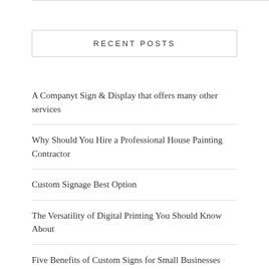RECENT POSTS
A Companyt Sign & Display that offers many other services
Why Should You Hire a Professional House Painting Contractor
Custom Signage Best Option
The Versatility of Digital Printing You Should Know About
Five Benefits of Custom Signs for Small Businesses